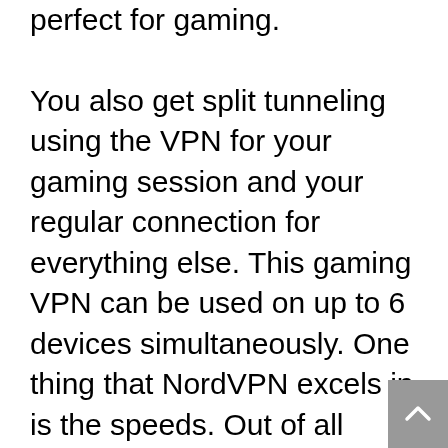perfect for gaming.
You also get split tunneling using the VPN for your gaming session and your regular connection for everything else. This gaming VPN can be used on up to 6 devices simultaneously. One thing that NordVPN excels in is the speeds. Out of all gaming VPNs on our list, this one has the highest average speeds.
As for using it, NordVPN isn't as flexible as the previous gaming VPN we mentioned. While there are apps for the most popular computer and smartphone platforms…